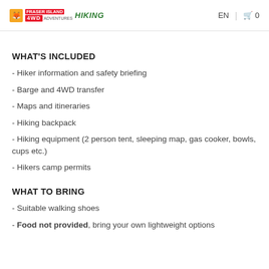Fraser Island 4WD Hiking Adventures – EN | Cart 0
WHAT'S INCLUDED
- Hiker information and safety briefing
- Barge and 4WD transfer
- Maps and itineraries
- Hiking backpack
- Hiking equipment (2 person tent, sleeping map, gas cooker, bowls, cups etc.)
- Hikers camp permits
WHAT TO BRING
- Suitable walking shoes
- Food not provided, bring your own lightweight options